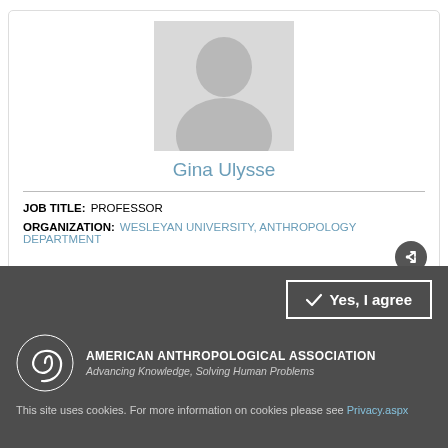[Figure (photo): Gray silhouette placeholder for profile photo]
Gina Ulysse
JOB TITLE: PROFESSOR
ORGANIZATION: WESLEYAN UNIVERSITY, ANTHROPOLOGY DEPARTMENT
[Figure (photo): Second profile card with partial photo placeholder]
[Figure (logo): American Anthropological Association logo — spiral shell icon with text]
This site uses cookies. For more information on cookies please see Privacy.aspx